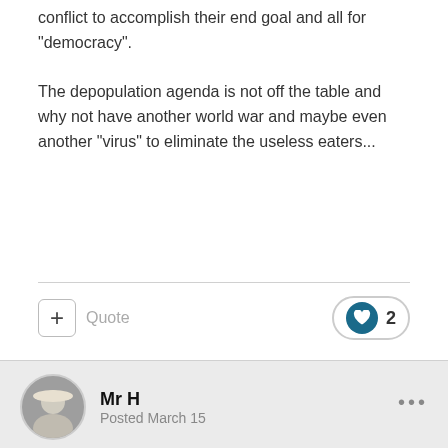conflict to accomplish their end goal and all for "democracy".

The depopulation agenda is not off the table and why not have another world war and maybe even another "virus" to eliminate the useless eaters...
Quote  ♥ 2
Mr H
Posted March 15
Discussing both Ukraine and links to covid and financial reset here.

Really good discussion.

https://www.bitchute.com/video/5RenyUbxhqy3/?